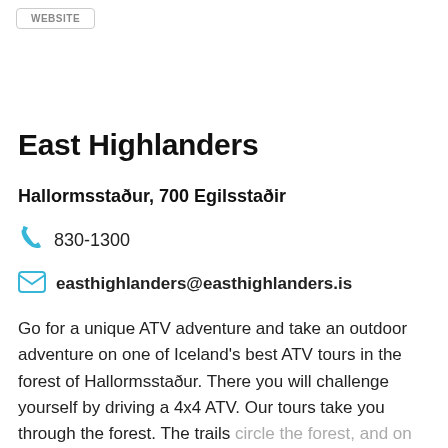WEBSITE
East Highlanders
Hallormsstaður, 700 Egilsstaðir
830-1300
easthighlanders@easthighlanders.is
Go for a unique ATV adventure and take an outdoor adventure on one of Iceland's best ATV tours in the forest of Hallormsstaður. There you will challenge yourself by driving a 4x4 ATV. Our tours take you through the forest. The trails circle the forest, and on the way, we will take a